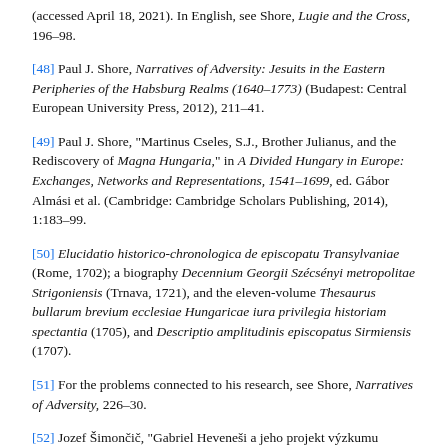(accessed April 18, 2021). In English, see Shore, Lugie and the Cross, 196–98.
[48] Paul J. Shore, Narratives of Adversity: Jesuits in the Eastern Peripheries of the Habsburg Realms (1640–1773) (Budapest: Central European University Press, 2012), 211–41.
[49] Paul J. Shore, "Martinus Cseles, S.J., Brother Julianus, and the Rediscovery of Magna Hungaria," in A Divided Hungary in Europe: Exchanges, Networks and Representations, 1541–1699, ed. Gábor Almási et al. (Cambridge: Cambridge Scholars Publishing, 2014), 1:183–99.
[50] Elucidatio historico-chronologica de episcopatu Transylvaniae (Rome, 1702); a biography Decennium Georgii Szécsényi metropolitae Strigoniensis (Trnava, 1721), and the eleven-volume Thesaurus bullarum brevium ecclesiae Hungaricae iura privilegia historiam spectantia (1705), and Descriptio amplitudinis episcopatus Sirmiensis (1707).
[51] For the problems connected to his research, see Shore, Narratives of Adversity, 226–30.
[52] Jozef Šimončič, "Gabriel Heveneši a jeho projekt výzkumu uhorských dejín," Viera a život 18, no. 2 (2008): 66